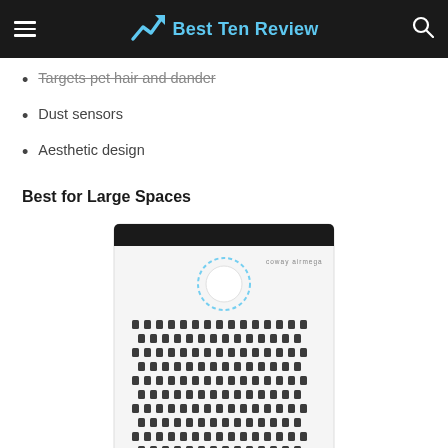Best Ten Review
Targets pet hair and dander
Dust sensors
Aesthetic design
Best for Large Spaces
[Figure (photo): Coway Airmega air purifier, white with black dot-pattern grille and teal LED ring indicator on front, against white background.]